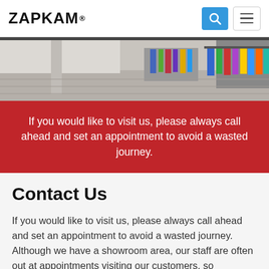ZAPKAM®
[Figure (photo): Interior of a clothing showroom with racks of colorful sportswear and apparel visible]
If you would like to visit us, please always call ahead and set an appointment to avoid a wasted journey.
Contact Us
If you would like to visit us, please always call ahead and set an appointment to avoid a wasted journey. Although we have a showroom area, our staff are often out at appointments visiting our customers, so someone may not always be available.